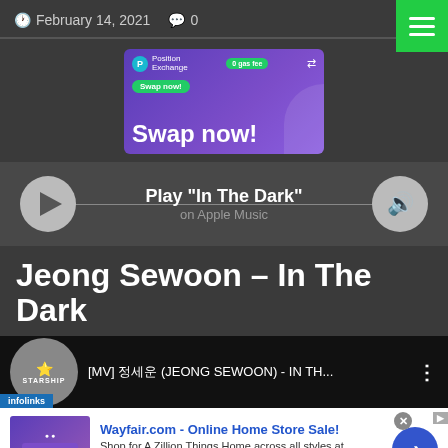February 14, 2021   0
[Figure (screenshot): Advertisement banner for Position Exchange - 'Swap now!' with purple gradient background and 0 gas fee promotion]
Play "In The Dark" on Apple Music
Jeong Sewoon – In The Dark
[Figure (screenshot): YouTube video thumbnail with Starship logo and title [MV] 정세운 (JEONG SEWOON) - IN TH...]
[Figure (screenshot): Wayfair.com - Online Home Store Sale! advertisement with bedroom furniture image and arrow button]